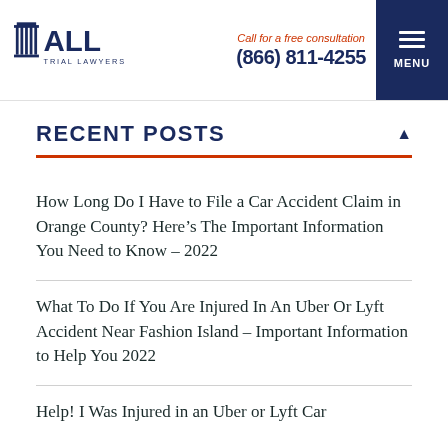ALL Trial Lawyers | Call for a free consultation (866) 811-4255 | MENU
RECENT POSTS
How Long Do I Have to File a Car Accident Claim in Orange County? Here’s The Important Information You Need to Know – 2022
What To Do If You Are Injured In An Uber Or Lyft Accident Near Fashion Island – Important Information to Help You 2022
Help! I Was Injured in an Uber or Lyft Car